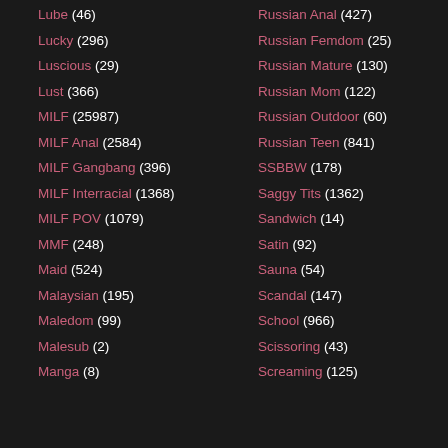Lube (46)
Lucky (296)
Luscious (29)
Lust (366)
MILF (25987)
MILF Anal (2584)
MILF Gangbang (396)
MILF Interracial (1368)
MILF POV (1079)
MMF (248)
Maid (524)
Malaysian (195)
Maledom (99)
Malesub (2)
Manga (8)
Russian Anal (427)
Russian Femdom (25)
Russian Mature (130)
Russian Mom (122)
Russian Outdoor (60)
Russian Teen (841)
SSBBW (178)
Saggy Tits (1362)
Sandwich (14)
Satin (92)
Sauna (54)
Scandal (147)
School (966)
Scissoring (43)
Screaming (125)